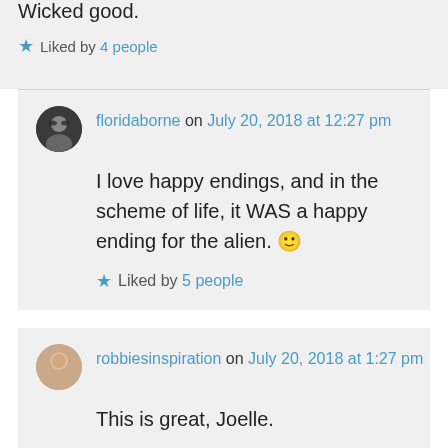Wicked good.
★ Liked by 4 people
floridaborne on July 20, 2018 at 12:27 pm
I love happy endings, and in the scheme of life, it WAS a happy ending for the alien. 🙂
★ Liked by 5 people
robbiesinspiration on July 20, 2018 at 1:27 pm
This is great, Joelle.